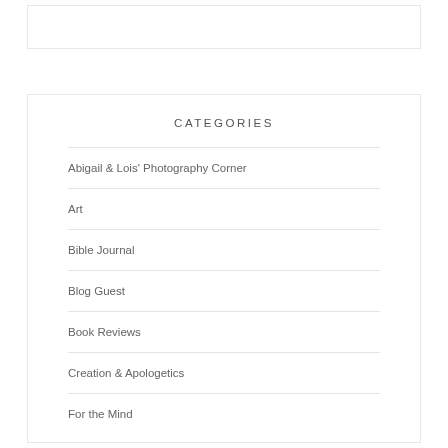CATEGORIES
Abigail & Lois' Photography Corner
Art
Bible Journal
Blog Guest
Book Reviews
Creation & Apologetics
For the Mind